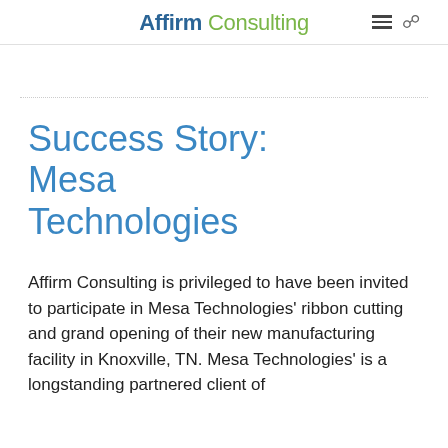Affirm Consulting
Success Story: Mesa Technologies
Affirm Consulting is privileged to have been invited to participate in Mesa Technologies' ribbon cutting and grand opening of their new manufacturing facility in Knoxville, TN. Mesa Technologies' is a longstanding partnered client of